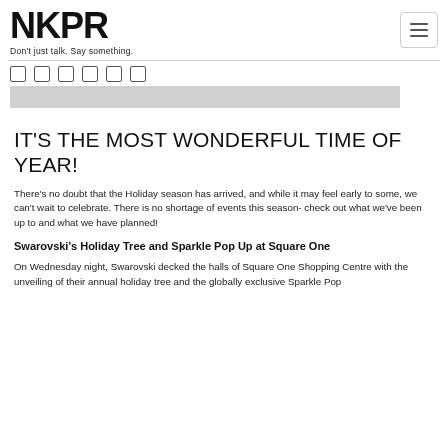NKPR — Don't just talk. Say something.
[Figure (logo): NKPR logo in bold black text with tagline 'Don't just talk. Say something.' below]
[Figure (other): Grey image placeholder strip]
IT'S THE MOST WONDERFUL TIME OF YEAR!
There's no doubt that the Holiday season has arrived, and while it may feel early to some, we can't wait to celebrate. There is no shortage of events this season- check out what we've been up to and what we have planned!
Swarovski's Holiday Tree and Sparkle Pop Up at Square One
On Wednesday night, Swarovski decked the halls of Square One Shopping Centre with the unveiling of their annual holiday tree and the globally exclusive Sparkle Pop